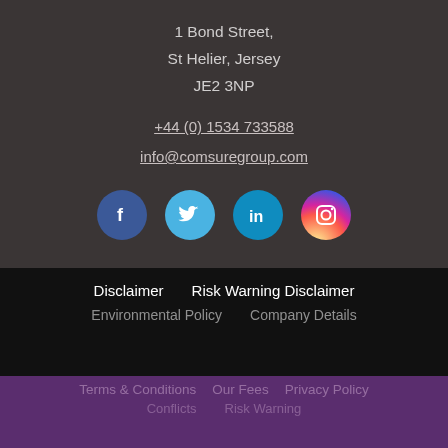1 Bond Street,
St Helier, Jersey
JE2 3NP
+44 (0) 1534 733588
info@comsuregroup.com
[Figure (illustration): Social media icons: Facebook (dark blue circle), Twitter (light blue circle), LinkedIn (blue circle), Instagram (gradient pink/purple circle)]
Disclaimer    Risk Warning Disclaimer
Environmental Policy    Company Details
Terms & Conditions    Our Fees    Privacy Policy
Conflicts    Risk Warning
This website uses cookies to ensure you have the best experience. Learn more.
CONTINUE